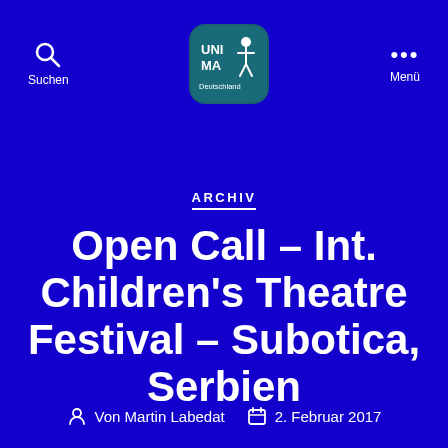Suchen   UNIMA Deutschland   Menü
[Figure (logo): UNIMA Deutschland logo — teal rounded square with stylized puppet figure and text 'UNI MA Deutschland']
ARCHIV
Open Call – Int. Children's Theatre Festival – Subotica, Serbien
Von Martin Labedat   2. Februar 2017